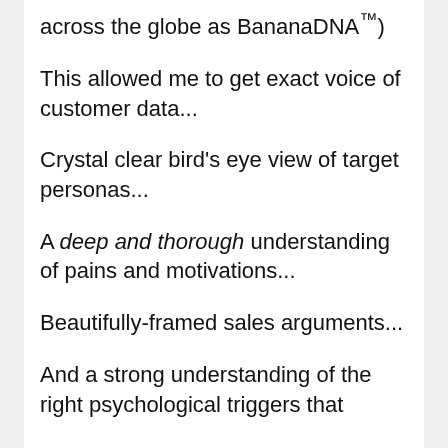across the globe as BananaDNA™)
This allowed me to get exact voice of customer data...
Crystal clear bird's eye view of target personas...
A deep and thorough understanding of pains and motivations...
Beautifully-framed sales arguments...
And a strong understanding of the right psychological triggers that